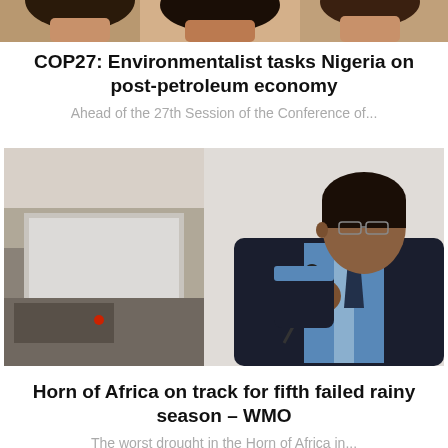[Figure (photo): Partial top strip showing cropped faces/figures from a photo above the fold]
COP27: Environmentalist tasks Nigeria on post-petroleum economy
Ahead of the 27th Session of the Conference of...
[Figure (photo): A man in a dark suit holding a microphone and speaking at a podium or conference setting]
Horn of Africa on track for fifth failed rainy season – WMO
The worst drought in the Horn of Africa in...